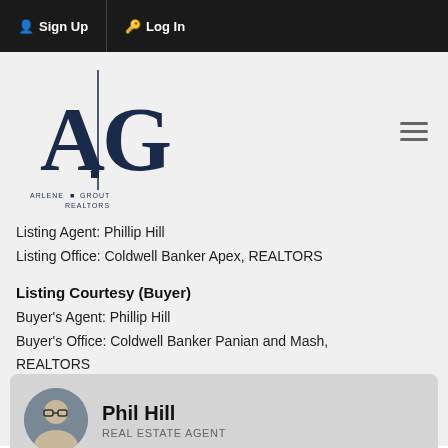Sign Up  Log In
[Figure (logo): AG Arlene Grout Realtors logo with large A|G letters and small text below]
Listing Agent: Phillip Hill
Listing Office: Coldwell Banker Apex, REALTORS
Listing Courtesy (Buyer)
Buyer's Agent: Phillip Hill
Buyer's Office: Coldwell Banker Panian and Mash, REALTORS
[Figure (logo): NTREIS logo with red, white and blue triangular house icon and 'ntreis' text]
Phil Hill
REAL ESTATE AGENT
Request Info   Schedule Showing